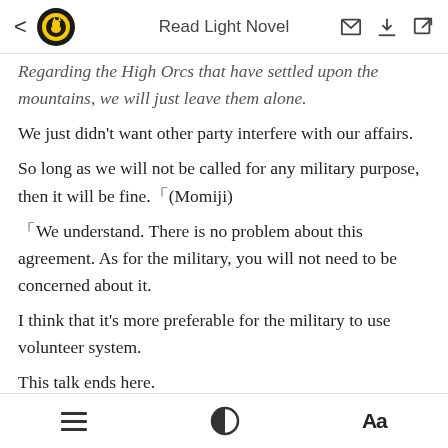Read Light Novel
Regarding the High Orcs that have settled upon the mountains, we will just leave them alone.
We just didn't want other party interfere with our affairs.
So long as we will not be called for any military purpose, then it will be fine.「(Momiji)
「We understand. There is no problem about this agreement. As for the military, you will not need to be concerned about it.
I think that it's more preferable for the military to use volunteer system.
This talk ends here.
Well then, since you have had to trouble yourself to come to
≡  ◑  Aa